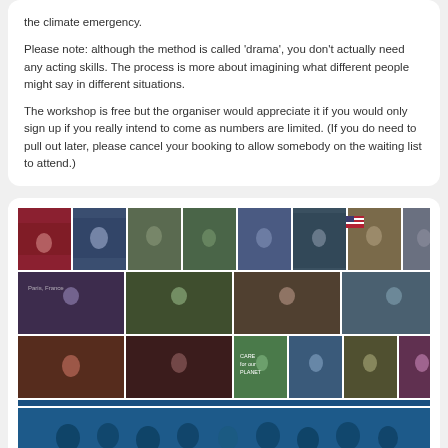the climate emergency.

Please note: although the method is called ‘drama’, you don’t actually need any acting skills. The process is more about imagining what different people might say in different situations.

The workshop is free but the organiser would appreciate it if you would only sign up if you really intend to come as numbers are limited. (If you do need to pull out later, please cancel your booking to allow somebody on the waiting list to attend.)
[Figure (photo): A collage of multiple photos showing diverse people in various settings related to climate, politics, activism, and everyday life, with a blue-tinted banner image at the bottom.]